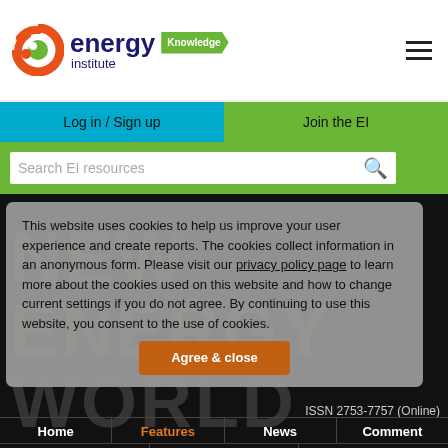[Figure (logo): Energy Institute logo with orange circular icon, blue text 'energy institute' and green 'Knowledge' badge, plus hamburger menu icon on right]
Log in / Sign up | Join the EI
Search EI resources
This website uses cookies to help us improve your user experience and create reports. The cookies collect information in an anonymous form. Please visit our privacy policy page to learn more about the cookies used on this website and how to change current settings if you do not agree. By continuing to use this website, you consent to the use of cookies.
Agree & close
ISSN 2753-7757 (Online)
Home | Features | News | Comment | About | Media pack | Contact